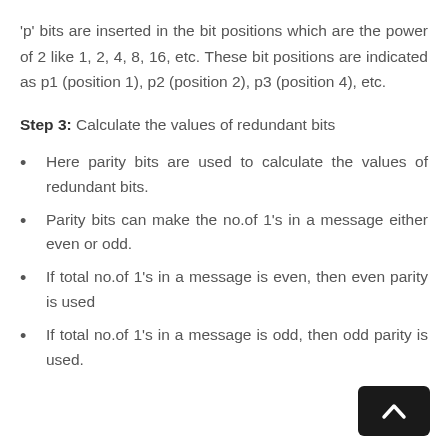'p' bits are inserted in the bit positions which are the power of 2 like 1, 2, 4, 8, 16, etc. These bit positions are indicated as p1 (position 1), p2 (position 2), p3 (position 4), etc.
Step 3: Calculate the values of redundant bits
Here parity bits are used to calculate the values of redundant bits.
Parity bits can make the no.of 1's in a message either even or odd.
If total no.of 1's in a message is even, then even parity is used
If total no.of 1's in a message is odd, then odd parity is used.